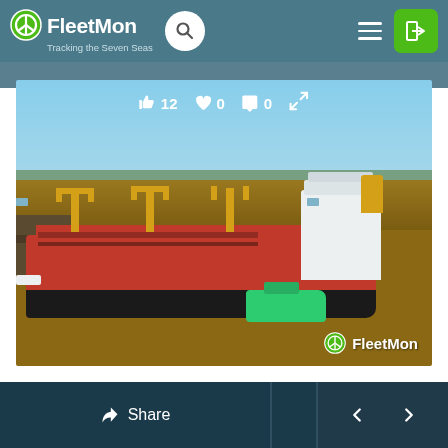FleetMon — Tracking the Seven Seas
[Figure (photo): Aerial view of a large bulk carrier ship with red hull and yellow cranes being assisted by a tugboat on a brown river. The FleetMon watermark is visible in the lower right. Overlay shows: thumbs-up 12, heart 0, comment 0.]
Share  <  >